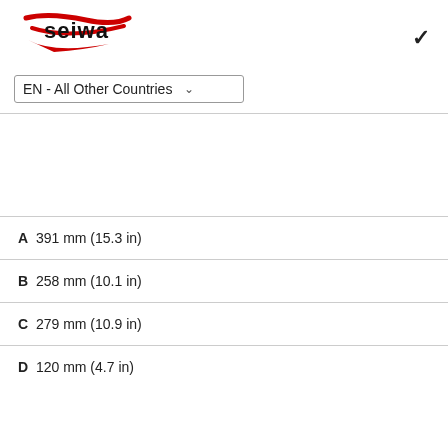[Figure (logo): Seiwa brand logo with red swoosh and black text]
EN - All Other Countries
A  391 mm (15.3 in)
B  258 mm (10.1 in)
C  279 mm (10.9 in)
D  120 mm (4.7 in)